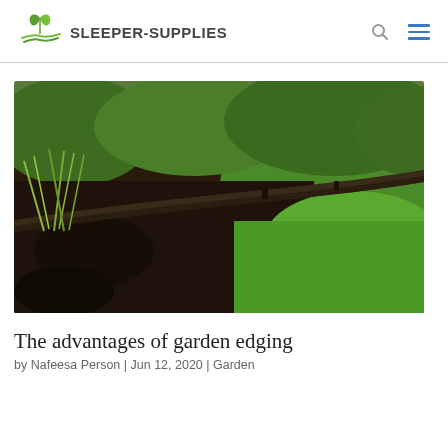SLEEPER-SUPPLIES
[Figure (photo): Garden edging photo showing a curved dark plastic border separating dark soil/mulch with plants from green lawn grass]
The advantages of garden edging
by Nafeesa Person | Jun 12, 2020 | Garden